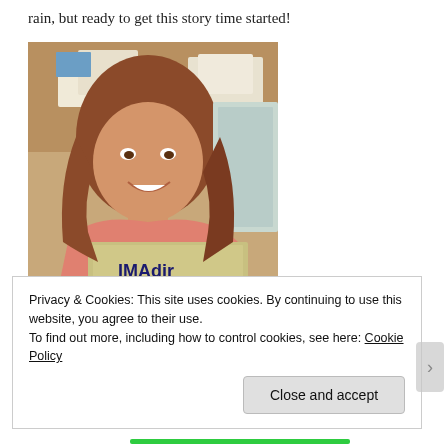rain, but ready to get this story time started!
[Figure (photo): A smiling woman with long auburn hair wearing a pink/salmon cardigan, holding a book with 'IMAdir...' visible on the cover. Background shows a desk with papers and a window/mirror.]
Privacy & Cookies: This site uses cookies. By continuing to use this website, you agree to their use.
To find out more, including how to control cookies, see here: Cookie Policy
Close and accept